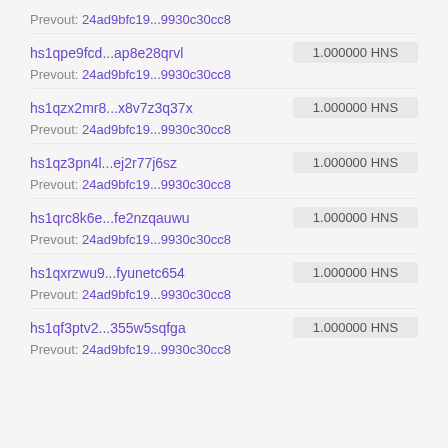Prevout: 24ad9bfc19...9930c30cc8
hs1qpe9fcd...ap8e28qrvl  1.000000 HNS
Prevout: 24ad9bfc19...9930c30cc8
hs1qzx2mr8...x8v7z3q37x  1.000000 HNS
Prevout: 24ad9bfc19...9930c30cc8
hs1qz3pn4l...ej2r77j6sz  1.000000 HNS
Prevout: 24ad9bfc19...9930c30cc8
hs1qrc8k6e...fe2nzqauwu  1.000000 HNS
Prevout: 24ad9bfc19...9930c30cc8
hs1qxrzwu9...fyunetc654  1.000000 HNS
Prevout: 24ad9bfc19...9930c30cc8
hs1qf3ptv2...355w5sqfga  1.000000 HNS
Prevout: 24ad9bfc19...9930c30cc8